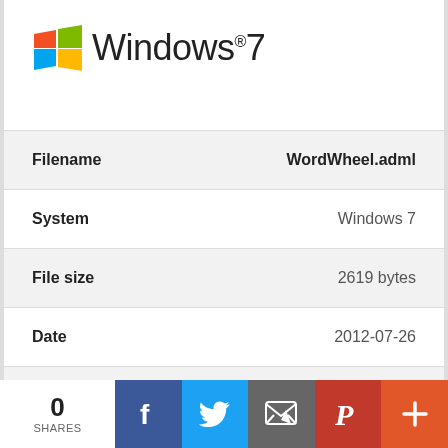[Figure (logo): Windows 7 logo with colorful flag and text 'Windows 7']
| Field | Value |
| --- | --- |
| Filename | WordWheel.adml |
| System | Windows 7 |
| File size | 2619 bytes |
| Date | 2012-07-26 |
[Figure (other): Download button with green down arrow icon and 'Download' text]
0 SHARES
[Figure (infographic): Social share bar with Facebook, Twitter, Email, Pinterest, and More buttons]